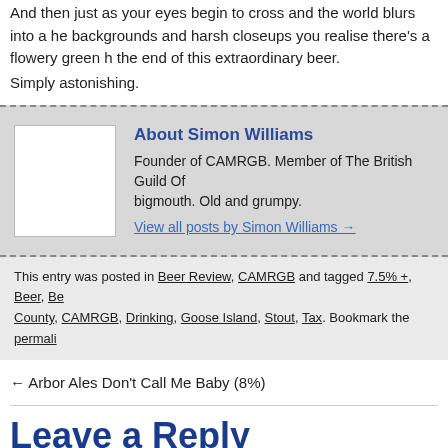And then just as your eyes begin to cross and the world blurs into a haze of backgrounds and harsh closeups you realise there's a flowery green h... the end of this extraordinary beer. Simply astonishing.
About Simon Williams
Founder of CAMRGB. Member of The British Guild Of... bigmouth. Old and grumpy.
View all posts by Simon Williams →
This entry was posted in Beer Review, CAMRGB and tagged 7.5% +, Beer, Be... County, CAMRGB, Drinking, Goose Island, Stout, Tax. Bookmark the perma...
← Arbor Ales Don't Call Me Baby (8%)
Leave a Reply
Your email address will not be published. Required fields are marked *